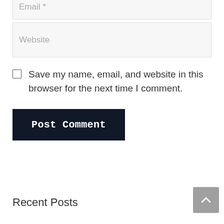[Figure (screenshot): Partial email input field at top, cropped, showing placeholder text 'Email *']
[Figure (screenshot): Website input field with placeholder text 'Website' on light gray background]
Save my name, email, and website in this browser for the next time I comment.
[Figure (screenshot): Dark navy 'Post Comment' button]
Recent Posts
[Figure (screenshot): Gray scroll-to-top button with upward chevron arrow]